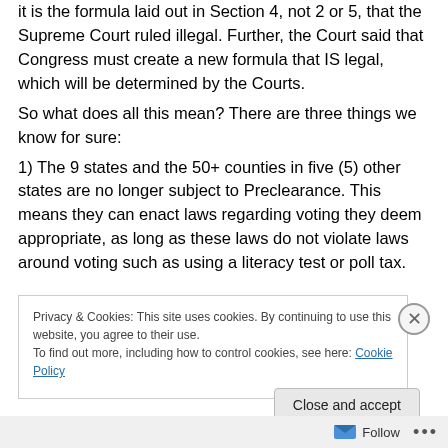it is the formula laid out in Section 4, not 2 or 5, that the Supreme Court ruled illegal. Further, the Court said that Congress must create a new formula that IS legal, which will be determined by the Courts.
So what does all this mean? There are three things we know for sure:
1) The 9 states and the 50+ counties in five (5) other states are no longer subject to Preclearance. This means they can enact laws regarding voting they deem appropriate, as long as these laws do not violate laws around voting such as using a literacy test or poll tax.
Privacy & Cookies: This site uses cookies. By continuing to use this website, you agree to their use.
To find out more, including how to control cookies, see here: Cookie Policy
Close and accept
Follow